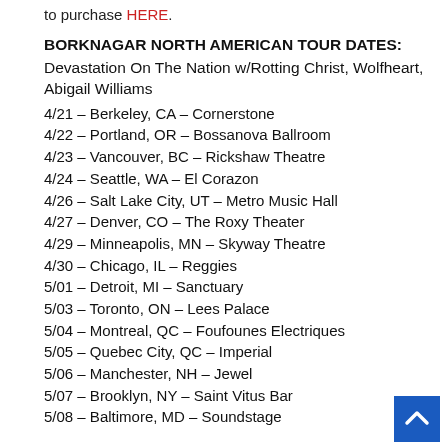to purchase HERE.
BORKNAGAR NORTH AMERICAN TOUR DATES:
Devastation On The Nation w/Rotting Christ, Wolfheart, Abigail Williams
4/21 – Berkeley, CA – Cornerstone
4/22 – Portland, OR – Bossanova Ballroom
4/23 – Vancouver, BC – Rickshaw Theatre
4/24 – Seattle, WA – El Corazon
4/26 – Salt Lake City, UT – Metro Music Hall
4/27 – Denver, CO – The Roxy Theater
4/29 – Minneapolis, MN – Skyway Theatre
4/30 – Chicago, IL – Reggies
5/01 – Detroit, MI – Sanctuary
5/03 – Toronto, ON – Lees Palace
5/04 – Montreal, QC – Foufounes Electriques
5/05 – Quebec City, QC – Imperial
5/06 – Manchester, NH – Jewel
5/07 – Brooklyn, NY – Saint Vitus Bar
5/08 – Baltimore, MD – Soundstage